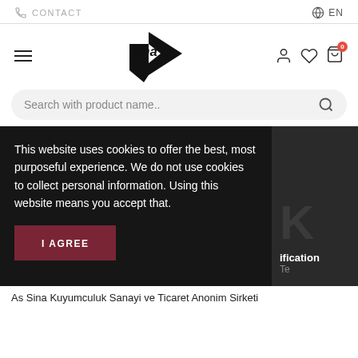CONTACT | EN
[Figure (logo): Sina jewelry brand logo with stylized arrow shape and 'sina' wordmark]
[Figure (screenshot): Search bar with placeholder text 'Search with product name..' and search icon]
This website uses cookies to offer the best, most purposeful experience. We do not use cookies to collect personal information. Using this website means you accept that.
I AGREE
ification
As Sina Kuyumculuk Sanayi ve Ticaret Anonim Sirketi